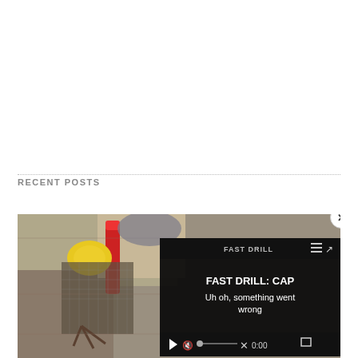RECENT POSTS
[Figure (photo): Photo of hunting/outdoor equipment including a red tool, yellow item, and mesh bag on a wooden surface, overlaid with a video player showing 'FAST DRILL: CAP' title and error message 'Uh oh, something went wrong' with playback controls at 0:00]